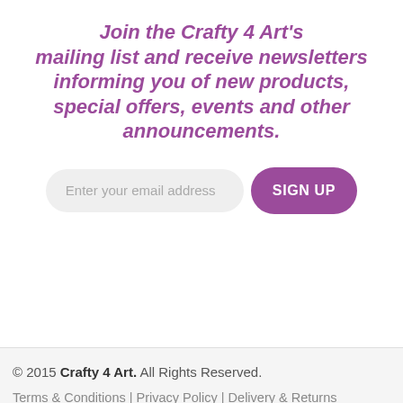Join the Crafty 4 Art's mailing list and receive newsletters informing you of new products, special offers, events and other announcements.
Enter your email address [SIGN UP button]
© 2015 Crafty 4 Art. All Rights Reserved. Terms & Conditions | Privacy Policy | Delivery & Returns